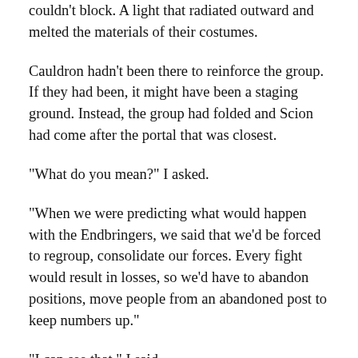couldn't block.  A light that radiated outward and melted the materials of their costumes.
Cauldron hadn't been there to reinforce the group.  If they had been, it might have been a staging ground.  Instead, the group had folded and Scion had come after the portal that was closest.
“What do you mean?” I asked.
“When we were predicting what would happen with the Endbringers, we said that we’d be forced to regroup, consolidate our forces.  Every fight would result in losses, so we'd have to abandon positions, move people from an abandoned post to keep numbers up.”
“I can see that,” I said.
An outpost abandoned.  The world Defiant and Dragon